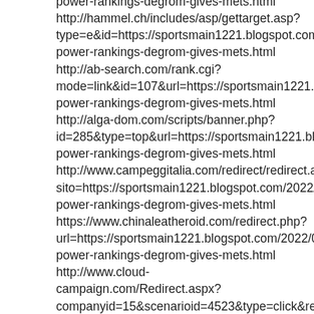power-rankings-degrom-gives-mets.html http://hammel.ch/includes/asp/gettarget.asp?type=e&id=https://sportsmain1221.blogspot.com/202 power-rankings-degrom-gives-mets.html http://ab-search.com/rank.cgi?mode=link&id=107&url=https://sportsmain1221.blogs power-rankings-degrom-gives-mets.html http://alga-dom.com/scripts/banner.php?id=285&type=top&url=https://sportsmain1221.blogsp power-rankings-degrom-gives-mets.html http://www.campeggitalia.com/redirect/redirect.asp?sito=https://sportsmain1221.blogspot.com/2022/08/m power-rankings-degrom-gives-mets.html https://www.chinaleatheroid.com/redirect.php?url=https://sportsmain1221.blogspot.com/2022/08/m power-rankings-degrom-gives-mets.html http://www.cloud-campaign.com/Redirect.aspx?companyid=15&scenarioid=4523&type=click&record